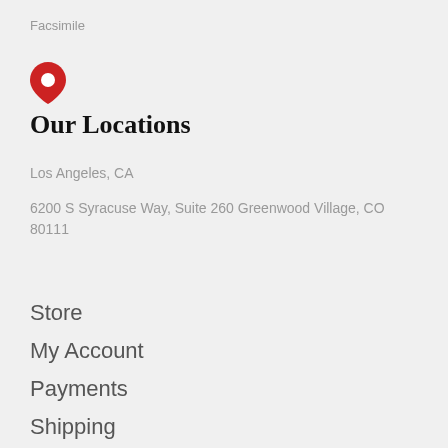Facsimile
[Figure (illustration): Red map pin / location marker icon]
Our Locations
Los Angeles, CA
6200 S Syracuse Way, Suite 260 Greenwood Village, CO 80111
Store
My Account
Payments
Shipping